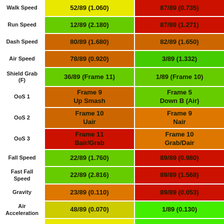| Stat | Value 1 | Value 2 |
| --- | --- | --- |
| Walk Speed | 52/89 (1.060) | 87/89 (0.735) |
| Run Speed | 12/89 (2.180) | 87/89 (1.271) |
| Dash Speed | 80/89 (1.680) | 82/89 (1.650) |
| Air Speed | 78/89 (0.920) | 3/89 (1.332) |
| Shield Grab (F) | 36/89 (Frame 11) | 1/89 (Frame 10) |
| OoS 1 | Frame 9
Up Smash | Frame 5
Down B (Air) |
| OoS 2 | Frame 10
Uair | Frame 9
Nair |
| OoS 3 | Frame 11
Bair/Grab | Frame 10
Grab/Dair |
| Fall Speed | 22/89 (1.760) | 89/89 (0.980) |
| Fast Fall Speed | 22/89 (2.816) | 89/89 (1.568) |
| Gravity | 23/89 (0.110) | 89/89 (0.053) |
| Air Acceleration | 48/89 (0.070) | 1/89 (0.130) |
| Jumps | 3 | 6 |
| Six Alt... | 15/89 (17.800) | 87/89 (11.960) |